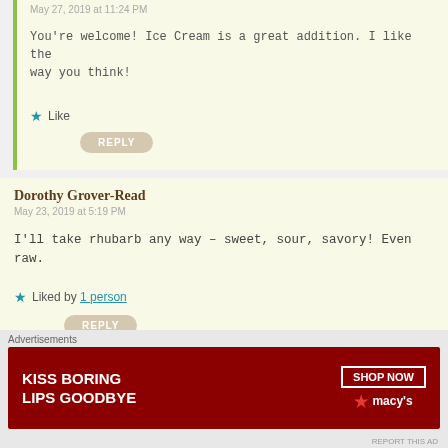May 27, 2019 at 11:24 PM
You're welcome! Ice Cream is a great addition. I like the way you think!
Like
REPLY
Dorothy Grover-Read
May 23, 2019 at 5:19 PM
I'll take rhubarb any way – sweet, sour, savory! Even raw.
Liked by 1 person
REPLY
indianeskitchen
Advertisements
KISS BORING LIPS GOODBYE
SHOP NOW
★ macy's
REPORT THIS AD